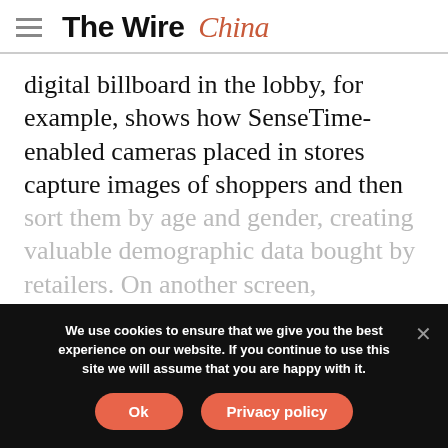The Wire China
digital billboard in the lobby, for example, shows how SenseTime-enabled cameras placed in stores capture images of shoppers and then sort them by age and gender, creating valuable demographic data bought by retailers. On another screen,
[Figure (screenshot): Partial screenshot/image preview box with grey background]
We use cookies to ensure that we give you the best experience on our website. If you continue to use this site we will assume that you are happy with it.
Ok   Privacy policy